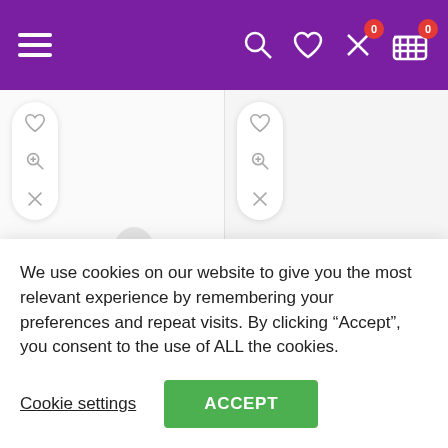Navigation header with hamburger menu, search, wishlist, compare (0), and cart (0) icons
[Figure (screenshot): Product card for SAO Sword Art Online Windproof Sports Mask with action icons (heart, zoom, compare)]
SAO Sword Art Online Windproof Sports Mask....
[Figure (screenshot): Product card for Amazon Essentials Men's Long-Sleeve Regular-fit Casual... with action icons (heart, zoom, compare)]
Amazon Essentials Men's Long-Sleeve Reaular-fit Casual...
We use cookies on our website to give you the most relevant experience by remembering your preferences and repeat visits. By clicking “Accept”, you consent to the use of ALL the cookies.
Cookie settings
ACCEPT